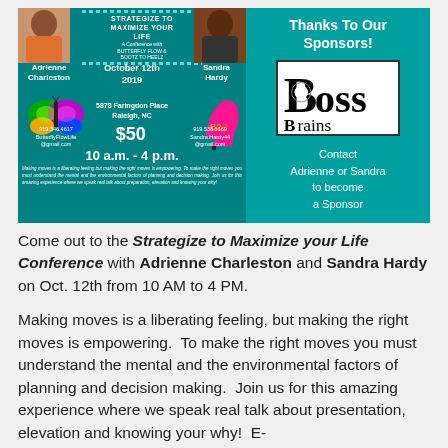[Figure (infographic): Event flyer for 'Strategize to Maximize your Life' conference with Butterfly Flow & Bootz to Heelz. Features Adrienne Charleston and Sandra Hardy. October 12th 2019, 5878 Faringdon Place, Raleigh NC. $50. 10 a.m. - 4 p.m. Right panel: Thanks To Our Sponsors! Boss Brains logo. Contact Adrienne or Sandra to become a Sponsor.]
Come out to the Strategize to Maximize your Life Conference with Adrienne Charleston and Sandra Hardy on Oct. 12th from 10 AM to 4 PM.
Making moves is a liberating feeling, but making the right moves is empowering.  To make the right moves you must understand the mental and the environmental factors of planning and decision making.  Join us for this amazing experience where we speak real talk about presentation, elevation and knowing your why!  E-mail ButterflyFlowLife@gmail.com or Sandra.Hardy44@gmail.co